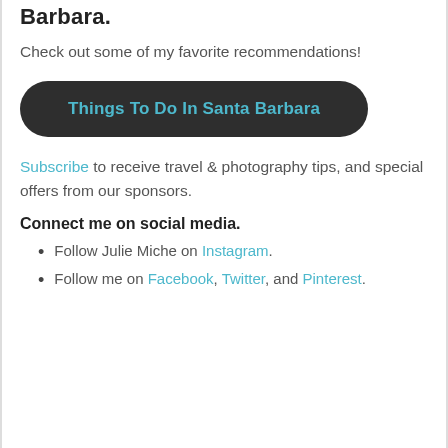Barbara.
Check out some of my favorite recommendations!
[Figure (other): Dark rounded button/pill with text 'Things To Do In Santa Barbara' in teal color]
Subscribe to receive travel & photography tips, and special offers from our sponsors.
Connect me on social media.
Follow Julie Miche on Instagram.
Follow me on Facebook, Twitter, and Pinterest.